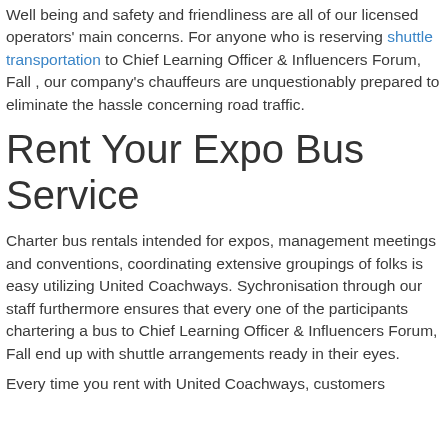Well being and safety and friendliness are all of our licensed operators' main concerns. For anyone who is reserving shuttle transportation to Chief Learning Officer & Influencers Forum, Fall , our company's chauffeurs are unquestionably prepared to eliminate the hassle concerning road traffic.
Rent Your Expo Bus Service
Charter bus rentals intended for expos, management meetings and conventions, coordinating extensive groupings of folks is easy utilizing United Coachways. Sychronisation through our staff furthermore ensures that every one of the participants chartering a bus to Chief Learning Officer & Influencers Forum, Fall end up with shuttle arrangements ready in their eyes.
Every time you rent with United Coachways, customers